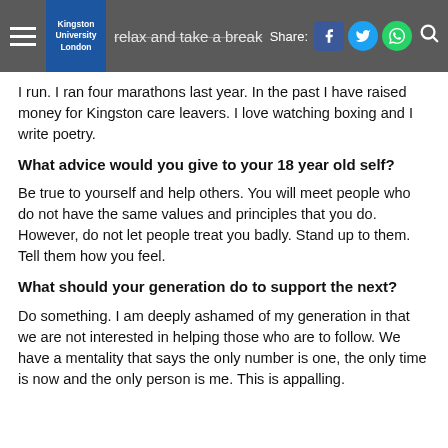Kingston University London | relax and take a break | Share: [Facebook] [Twitter] [WhatsApp] [Search]
I run. I ran four marathons last year. In the past I have raised money for Kingston care leavers. I love watching boxing and I write poetry.
What advice would you give to your 18 year old self?
Be true to yourself and help others. You will meet people who do not have the same values and principles that you do. However, do not let people treat you badly. Stand up to them. Tell them how you feel.
What should your generation do to support the next?
Do something. I am deeply ashamed of my generation in that we are not interested in helping those who are to follow. We have a mentality that says the only number is one, the only time is now and the only person is me. This is appalling.